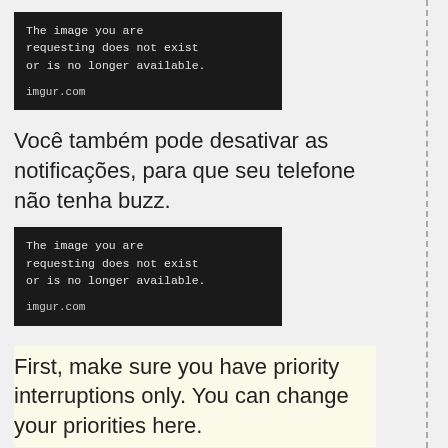[Figure (screenshot): Black imgur error box: 'The image you are requesting does not exist or is no longer available. imgur.com']
Você também pode desativar as notificações, para que seu telefone não tenha buzz.
[Figure (screenshot): Black imgur error box: 'The image you are requesting does not exist or is no longer available. imgur.com']
First, make sure you have priority interruptions only. You can change your priorities here.
(Click image to enlarge)